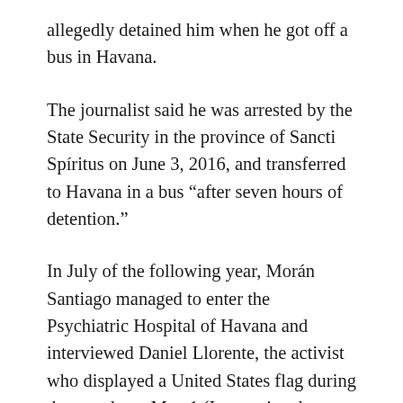allegedly detained him when he got off a bus in Havana.
The journalist said he was arrested by the State Security in the province of Sancti Spíritus on June 3, 2016, and transferred to Havana in a bus “after seven hours of detention.”
In July of the following year, Morán Santiago managed to enter the Psychiatric Hospital of Havana and interviewed Daniel Llorente, the activist who displayed a United States flag during the parade on May 1 (International Workers’ Day) in the Plaza of the Revolution.
Last April, Reporters Without Borders ranked Cuba as one of … (continues)